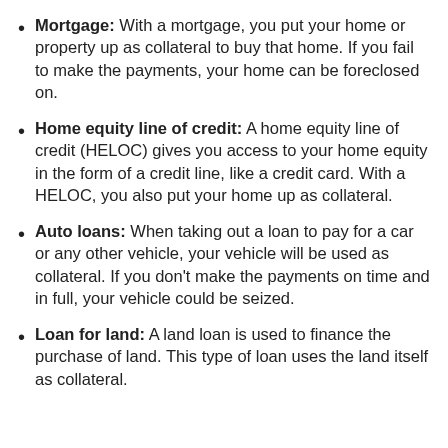Mortgage: With a mortgage, you put your home or property up as collateral to buy that home. If you fail to make the payments, your home can be foreclosed on.
Home equity line of credit: A home equity line of credit (HELOC) gives you access to your home equity in the form of a credit line, like a credit card. With a HELOC, you also put your home up as collateral.
Auto loans: When taking out a loan to pay for a car or any other vehicle, your vehicle will be used as collateral. If you don't make the payments on time and in full, your vehicle could be seized.
Loan for land: A land loan is used to finance the purchase of land. This type of loan uses the land itself as collateral.